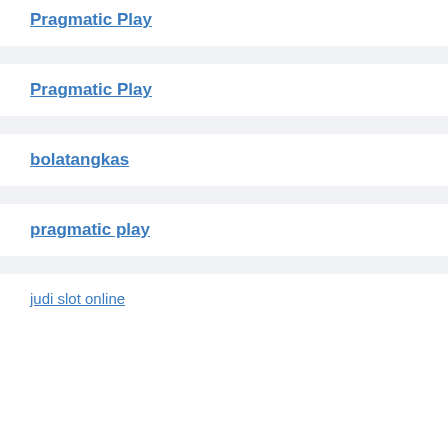Pragmatic Play
Pragmatic Play
bolatangkas
pragmatic play
judi slot online